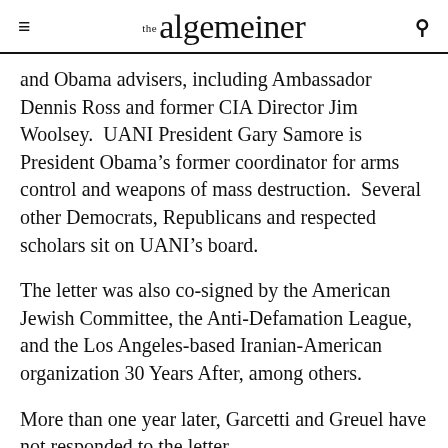the algemeiner
and Obama advisers, including Ambassador Dennis Ross and former CIA Director Jim Woolsey. UANI President Gary Samore is President Obama's former coordinator for arms control and weapons of mass destruction. Several other Democrats, Republicans and respected scholars sit on UANI's board.
The letter was also co-signed by the American Jewish Committee, the Anti-Defamation League, and the Los Angeles-based Iranian-American organization 30 Years After, among others.
More than one year later, Garcetti and Greuel have not responded to the letter.